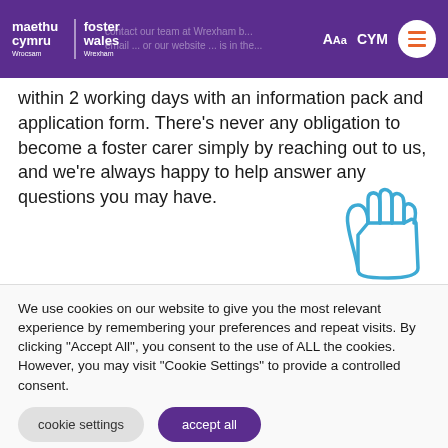maethu cymru | foster wales Wrexham — Wrocsam — header navigation with AAa, CYM, and hamburger menu
within 2 working days with an information pack and application form. There's never any obligation to become a foster carer simply by reaching out to us, and we're always happy to help answer any questions you may have.
[Figure (illustration): Blue outline illustration of a raised hand (waving hand) in the bottom-right corner of the content area]
We use cookies on our website to give you the most relevant experience by remembering your preferences and repeat visits. By clicking "Accept All", you consent to the use of ALL the cookies. However, you may visit "Cookie Settings" to provide a controlled consent.
cookie settings | accept all